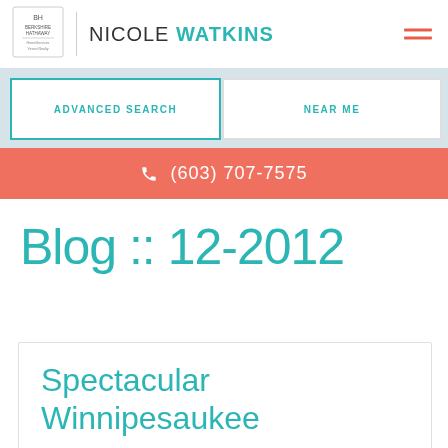NICOLE WATKINS
ADVANCED SEARCH
NEAR ME
(603) 707-7575
Blog :: 12-2012
Spectacular Winnipesaukee